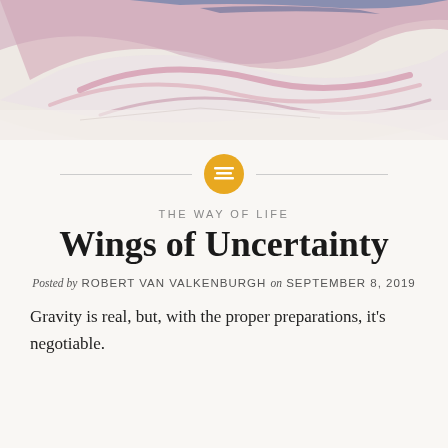[Figure (illustration): Abstract painting with pink, blue, and lavender brushstrokes on a light background, resembling wing-like shapes.]
THE WAY OF LIFE
Wings of Uncertainty
Posted by ROBERT VAN VALKENBURGH on SEPTEMBER 8, 2019
Gravity is real, but, with the proper preparations, it’s negotiable.